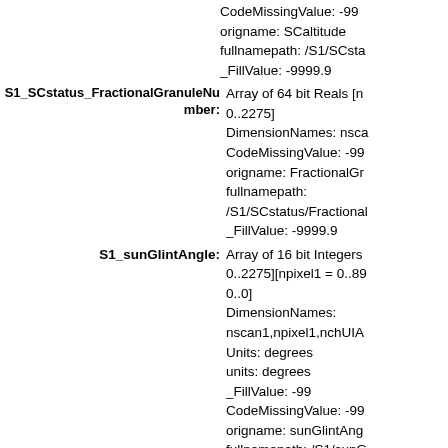CodeMissingValue: -99
origname: SCaltitude
fullnamepath: /S1/SCsta
_FillValue: -9999.9
S1_SCstatus_FractionalGranuleNumber: Array of 64 bit Reals [n 0..2275]
DimensionNames: nsca
CodeMissingValue: -99
origname: FractionalGr
fullnamepath:
/S1/SCstatus/Fractional
_FillValue: -9999.9
S1_sunGlintAngle: Array of 16 bit Integers 0..2275][npixel1 = 0..89 0..0]
DimensionNames:
nscan1,npixel1,nchUIA
Units: degrees
units: degrees
_FillValue: -99
CodeMissingValue: -99
origname: sunGlintAng
fullnamepath: /S1/sunG
coordinates: S1_Longit
nchUIA1